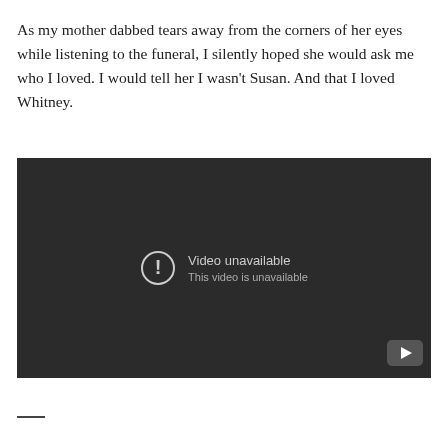As my mother dabbed tears away from the corners of her eyes while listening to the funeral, I silently hoped she would ask me who I loved. I would tell her I wasn't Susan. And that I loved Whitney.
[Figure (screenshot): Embedded video player showing 'Video unavailable – This video is unavailable' error message on a dark background, with a YouTube logo button in the bottom right corner.]
—